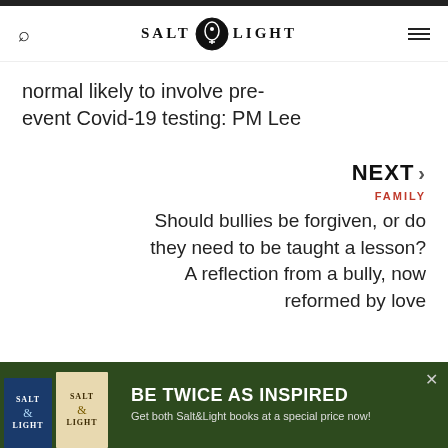SALT & LIGHT
normal likely to involve pre-event Covid-19 testing: PM Lee
NEXT > FAMILY Should bullies be forgiven, or do they need to be taught a lesson? A reflection from a bully, now reformed by love
[Figure (infographic): Advertisement banner for Salt&Light books with text: BE TWICE AS INSPIRED Get both Salt&Light books at a special price now!]